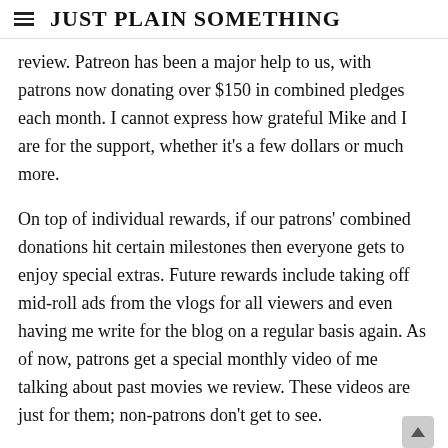JUST PLAIN SOMETHING
review. Patreon has been a major help to us, with patrons now donating over $150 in combined pledges each month. I cannot express how grateful Mike and I are for the support, whether it's a few dollars or much more.
On top of individual rewards, if our patrons' combined donations hit certain milestones then everyone gets to enjoy special extras. Future rewards include taking off mid-roll ads from the vlogs for all viewers and even having me write for the blog on a regular basis again. As of now, patrons get a special monthly video of me talking about past movies we review. These videos are just for them; non-patrons don't get to see.